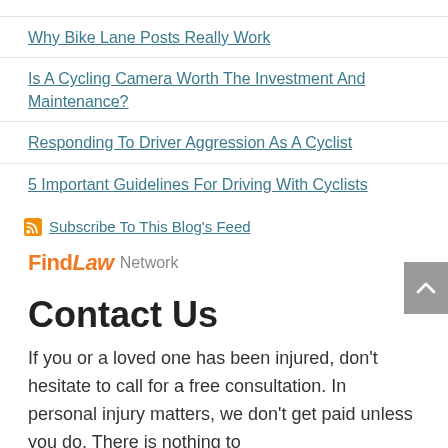Why Bike Lane Posts Really Work
Is A Cycling Camera Worth The Investment And Maintenance?
Responding To Driver Aggression As A Cyclist
5 Important Guidelines For Driving With Cyclists
Subscribe To This Blog's Feed
[Figure (logo): FindLaw Network logo with orange FindLaw text and gray Network text]
Contact Us
If you or a loved one has been injured, don't hesitate to call for a free consultation. In personal injury matters, we don't get paid unless you do. There is nothing to